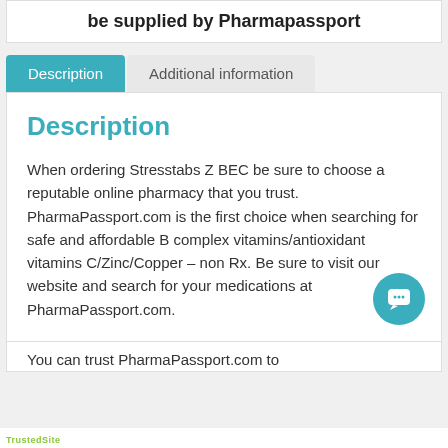be supplied by Pharmapassport
Description
Additional information
Description
When ordering Stresstabs Z BEC be sure to choose a reputable online pharmacy that you trust. PharmaPassport.com is the first choice when searching for safe and affordable B complex vitamins/antioxidant vitamins C/Zinc/Copper – non Rx. Be sure to visit our website and search for your medications at PharmaPassport.com.
You can trust PharmaPassport.com to
TrustedSite